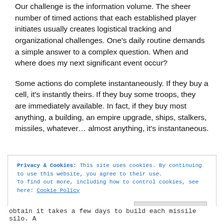Our challenge is the information volume. The sheer number of timed actions that each established player initiates usually creates logistical tracking and organizational challenges. One's daily routine demands a simple answer to a complex question. When and where does my next significant event occur?
Some actions do complete instantaneously. If they buy a cell, it's instantly theirs. If they buy some troops, they are immediately available. In fact, if they buy most anything, a building, an empire upgrade, ships, stalkers, missiles, whatever… almost anything, it's instantaneous.
Privacy & Cookies: This site uses cookies. By continuing to use this website, you agree to their use. To find out more, including how to control cookies, see here: Cookie Policy
Close and accept
obtain it takes a few days to build each missile silo. A